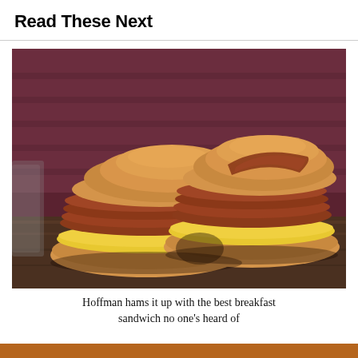Read These Next
[Figure (photo): Two halves of a breakfast sandwich on a roll, filled with layers of ham/pork meat and yellow scrambled eggs, placed on a wooden surface with a dark red/maroon background]
Hoffman hams it up with the best breakfast sandwich no one's heard of